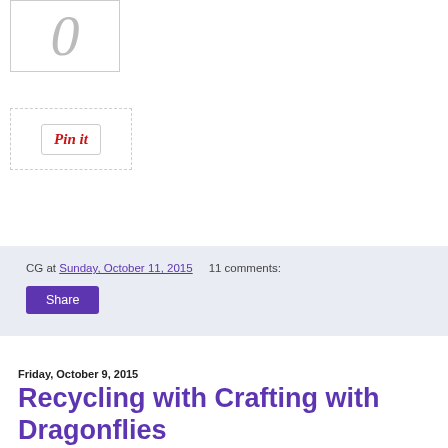[Figure (illustration): White box with a cursive/italic zero glyph in gray]
[Figure (screenshot): Pinterest 'Pin it' button inside a dashed border box]
CG at Sunday, October 11, 2015   11 comments:
Share
Friday, October 9, 2015
Recycling with Crafting with Dragonflies
I'm hosting the Crafting with Dragonflies challenge this fortnight, so I chose my favorite theme: Recycling/use something not intended for crafting.